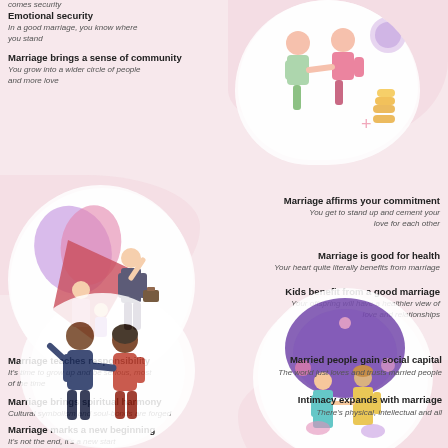comes security
Emotional security
In a good marriage, you know where you stand
Marriage brings a sense of community
You grow into a wider circle of people and more love
[Figure (illustration): Two people shaking hands with gold coins stacked and a purple commitment circle]
[Figure (illustration): Superhero family illustration with man in dark suit carrying briefcase, woman in pink, child in purple, with large butterfly/cape shape behind them]
Marriage affirms your commitment
You get to stand up and cement your love for each other
Marriage is good for health
Your heart quite literally benefits from marriage
Kids benefit from a good marriage
Your offspring will have a healthier view of love and relationships
Marriage teaches responsibility
It's time to grow up and be serious, most of the time
Marriage brings spiritual harmony
Cultural symbolism and soul-bonds are forged
Marriage marks a new beginning
It's not the end, it's a new start
[Figure (illustration): Indian wedding couple under a mandap arch, bride in teal saree, groom in gold kurta with turban]
[Figure (illustration): A couple greeting each other, man in navy, woman in red, reaching toward each other]
Married people gain social capital
The world just loves and trusts married people
Intimacy expands with marriage
There's physical, intellectual and all